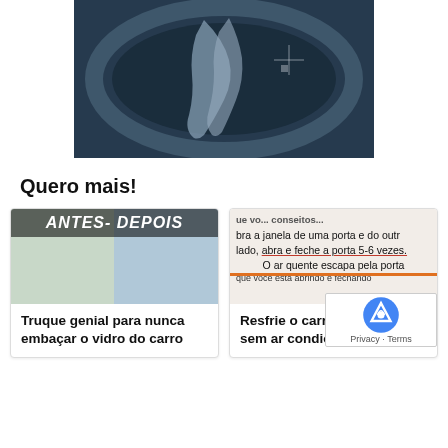[Figure (photo): A dark cylindrical drum or washing machine interior viewed from above, with a blue-tinted image showing fabric or clothing inside.]
Quero mais!
[Figure (photo): Card image showing before-and-after car window treatment with 'ANTES-DEPOIS' banner]
Truque genial para nunca embaçar o vidro do carro
[Figure (photo): Card image with text overlay: 'bra a janela de uma porta e do outr lado, abra e feche a porta 5-6 vezes. O ar quente escapa pela porta que você está abrindo e fechando']
Resfrie o carro rapidamente sem ar condicionado